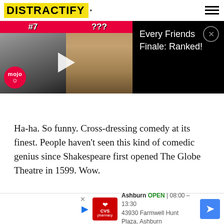[Figure (screenshot): Distractify website header with yellow logo and hamburger menu icon]
[Figure (screenshot): Video banner showing '#7' and '???' thumbnails with play button, and text 'Every Friends Finale: Ranked!']
Ha-ha. So funny. Cross-dressing comedy at its finest. People haven't seen this kind of comedic genius since Shakespeare first opened The Globe Theatre in 1599. Wow.
[Figure (screenshot): CVS Pharmacy ad banner: Ashburn OPEN 08:00 - 13:30, 43930 Farmwell Hunt Plaza, Ashburn]